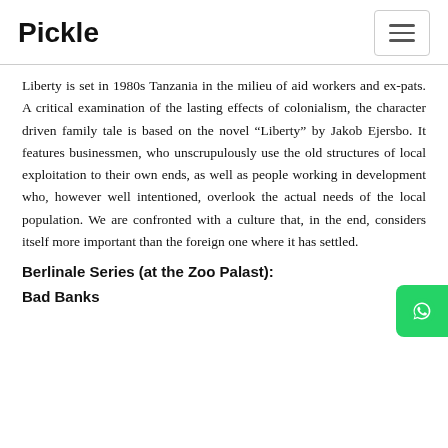Pickle
Liberty is set in 1980s Tanzania in the milieu of aid workers and ex-pats. A critical examination of the lasting effects of colonialism, the character driven family tale is based on the novel “Liberty” by Jakob Ejersbo. It features businessmen, who unscrupulously use the old structures of local exploitation to their own ends, as well as people working in development who, however well intentioned, overlook the actual needs of the local population. We are confronted with a culture that, in the end, considers itself more important than the foreign one where it has settled.
Berlinale Series (at the Zoo Palast):
Bad Banks